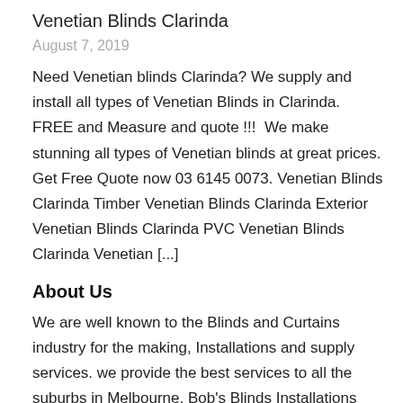Venetian Blinds Clarinda
August 7, 2019
Need Venetian blinds Clarinda? We supply and install all types of Venetian Blinds in Clarinda. FREE and Measure and quote !!!  We make stunning all types of Venetian blinds at great prices. Get Free Quote now 03 6145 0073. Venetian Blinds Clarinda Timber Venetian Blinds Clarinda Exterior Venetian Blinds Clarinda PVC Venetian Blinds Clarinda Venetian [...]
About Us
We are well known to the Blinds and Curtains industry for the making, Installations and supply services. we provide the best services to all the suburbs in Melbourne. Bob's Blinds Installations has